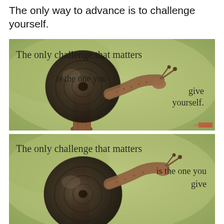The only way to advance is to challenge yourself.
[Figure (photo): Close-up photo of a snail on a branch with motivational text overlay: 'The only challenge that matters is the one you give yourself.' with a small watermark logo in the bottom right.]
[Figure (photo): Partial close-up photo of a snail (same or similar) with motivational text overlay: 'The only challenge that matters is the one you give' (text cut off at bottom).]